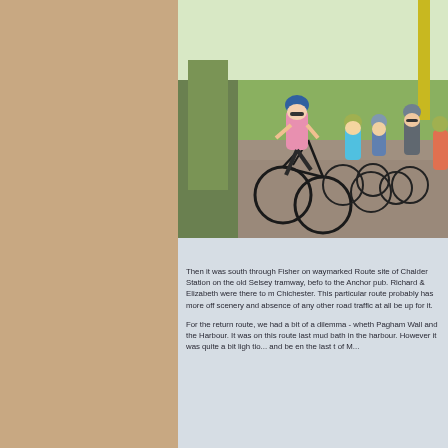[Figure (photo): A group of cyclists wearing helmets posed on a gravel path with tall grass and green fields in the background. A woman in a pink top and black shorts is in the foreground on a black bike. Several other cyclists stand behind her.]
Then it was south through Fisher on waymarked Route site of Chalder Station on the old Selsey tramway, befo to the Anchor pub. Richard & Elizabeth were there to m Chichester. This particular route probably has more off scenery and absence of any other road traffic at all be up for it.
For the return route, we had a bit of a dilemma - whet Pagham Wall and the Harbour. It was on this route last mud bath in the harbour. However it was quite a bit lig tio... and be en the last t of M...